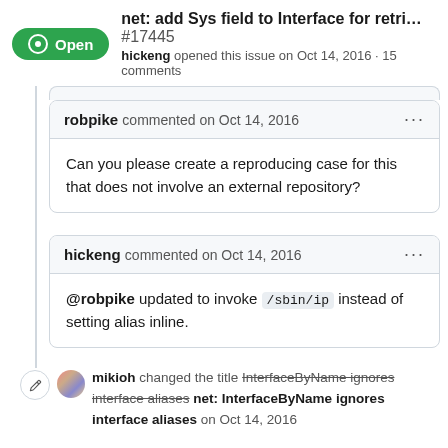net: add Sys field to Interface for retri... #17445
hickeng opened this issue on Oct 14, 2016 · 15 comments
robpike commented on Oct 14, 2016
Can you please create a reproducing case for this that does not involve an external repository?
hickeng commented on Oct 14, 2016
@robpike updated to invoke /sbin/ip instead of setting alias inline.
mikioh changed the title InterfaceByName ignores interface aliases net: InterfaceByName ignores interface aliases on Oct 14, 2016